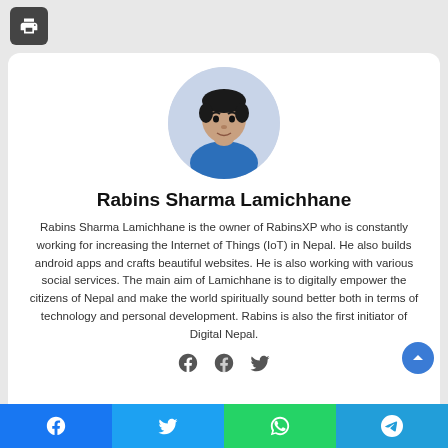[Figure (photo): Print button icon in dark gray rounded square]
[Figure (photo): Circular profile photo of Rabins Sharma Lamichhane wearing a blue shirt]
Rabins Sharma Lamichhane
Rabins Sharma Lamichhane is the owner of RabinsXP who is constantly working for increasing the Internet of Things (IoT) in Nepal. He also builds android apps and crafts beautiful websites. He is also working with various social services. The main aim of Lamichhane is to digitally empower the citizens of Nepal and make the world spiritually sound better both in terms of technology and personal development. Rabins is also the first initiator of Digital Nepal.
[Figure (logo): Social media share bar with Facebook, Twitter, WhatsApp, and Telegram buttons at the bottom]